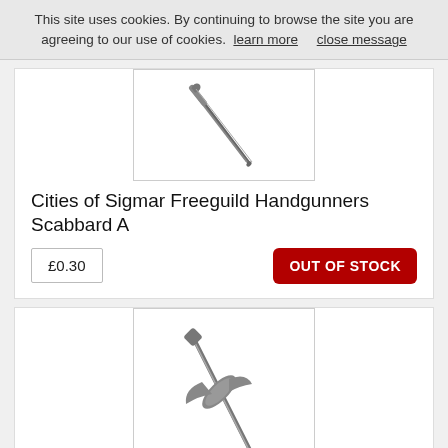This site uses cookies. By continuing to browse the site you are agreeing to our use of cookies.  learn more     close message
[Figure (photo): A metallic dark grey scabbard / sword piece (Freeguild Handgunners Scabbard A), diagonal orientation on white background]
Cities of Sigmar Freeguild Handgunners Scabbard A
£0.30
OUT OF STOCK
[Figure (photo): A metallic dark grey dagger/sword with decorative guard (Freeguild Handgunners Scabbard B), diagonal orientation on white background]
Cities of Sigmar Freeguild Handgunners Scabbard B